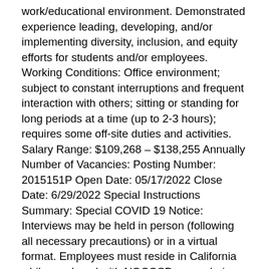work/educational environment. Demonstrated experience leading, developing, and/or implementing diversity, inclusion, and equity efforts for students and/or employees. Working Conditions: Office environment; subject to constant interruptions and frequent interaction with others; sitting or standing for long periods at a time (up to 2-3 hours); requires some off-site duties and activities. Salary Range: $109,268 – $138,255 Annually Number of Vacancies: Posting Number: 2015151P Open Date: 05/17/2022 Close Date: 6/29/2022 Special Instructions Summary: Special COVID 19 Notice: Interviews may be held in person (following all necessary precautions) or in a virtual format. Employees must reside in California while employed with NOCCCD, even during remote work. Thank you for your continued interest in working at North Orange County Community College District. The North Orange County Community College District is committed to protecting the health and wellbeing of students, faculty, staff, administrators, and the communities it serves. The Board of Trustees voted to mandate COVID-19 vaccinations for all employees and those students enrolled in on-campus classes with allowances for religious or medical exemptions as defined by law. The due date for employees and students to be fully vaccinated is November 1, 2021. More information can be found on our District